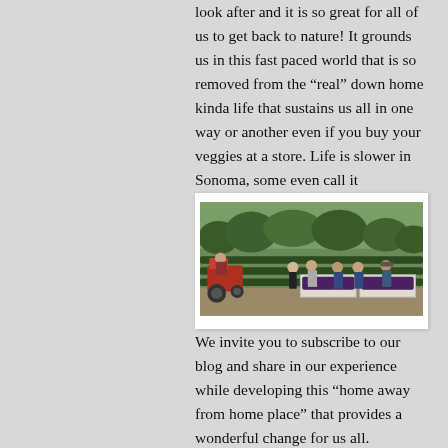look after and it is so great for all of us to get back to nature! It grounds us in this fast paced world that is so removed from the “real” down home kinda life that sustains us all in one way or another even if you buy your veggies at a store. Life is slower in Sonoma, some even call it Slownoma.
[Figure (photo): Group of people at a vineyard harvest, with a person on a tractor on the left and several people standing behind large harvest bins filled with dark grapes, surrounded by green vineyard rows and trees.]
We invite you to subscribe to our blog and share in our experience while developing this “home away from home place” that provides a wonderful change for us all.